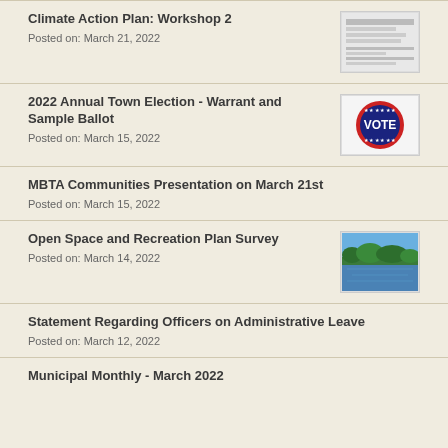Climate Action Plan: Workshop 2
Posted on: March 21, 2022
2022 Annual Town Election - Warrant and Sample Ballot
Posted on: March 15, 2022
MBTA Communities Presentation on March 21st
Posted on: March 15, 2022
Open Space and Recreation Plan Survey
Posted on: March 14, 2022
Statement Regarding Officers on Administrative Leave
Posted on: March 12, 2022
Municipal Monthly - March 2022